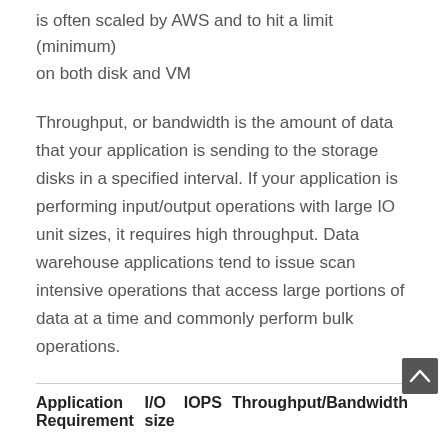is often scaled by AWS and to hit a limit (minimum) on both disk and VM
Throughput, or bandwidth is the amount of data that your application is sending to the storage disks in a specified interval. If your application is performing input/output operations with large IO unit sizes, it requires high throughput. Data warehouse applications tend to issue scan intensive operations that access large portions of data at a time and commonly perform bulk operations.
| Application Requirement | I/O size | IOPS | Throughput/Bandwidth |
| --- | --- | --- | --- |
| Max IOPS | 8 | 5,000 | 40 MB per second |